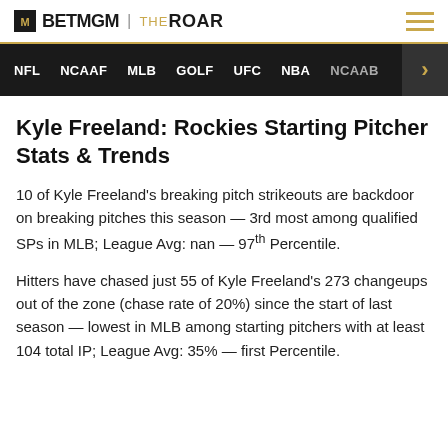BETMGM | THEROAR
NFL  NCAAF  MLB  GOLF  UFC  NBA  NCAAB
Kyle Freeland: Rockies Starting Pitcher Stats & Trends
10 of Kyle Freeland's breaking pitch strikeouts are backdoor on breaking pitches this season — 3rd most among qualified SPs in MLB; League Avg: nan — 97th Percentile.
Hitters have chased just 55 of Kyle Freeland's 273 changeups out of the zone (chase rate of 20%) since the start of last season — lowest in MLB among starting pitchers with at least 104 total IP; League Avg: 35% — first Percentile.